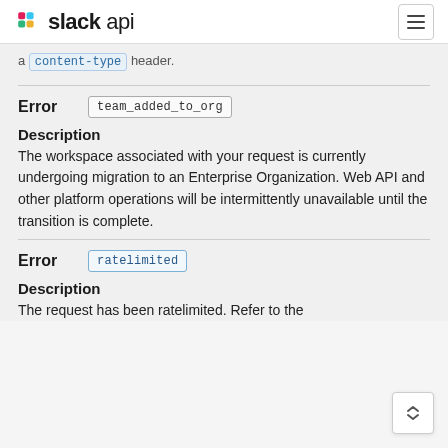slack api
a content-type header.
Error   team_added_to_org
Description
The workspace associated with your request is currently undergoing migration to an Enterprise Organization. Web API and other platform operations will be intermittently unavailable until the transition is complete.
Error   ratelimited
Description
The request has been ratelimited. Refer to the